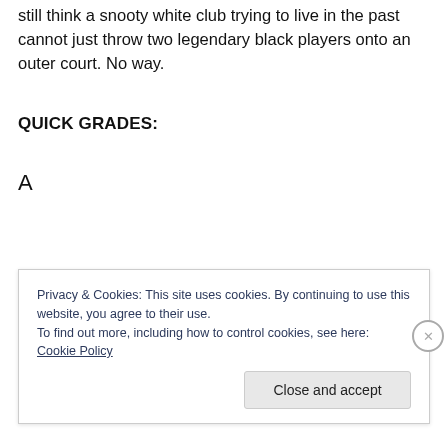still think a snooty white club trying to live in the past cannot just throw two legendary black players onto an outer court. No way.
QUICK GRADES:
A
Privacy & Cookies: This site uses cookies. By continuing to use this website, you agree to their use.
To find out more, including how to control cookies, see here: Cookie Policy